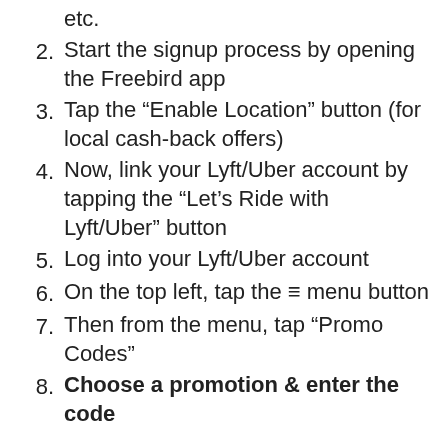etc.
2. Start the signup process by opening the Freebird app
3. Tap the “Enable Location” button (for local cash-back offers)
4. Now, link your Lyft/Uber account by tapping the “Let’s Ride with Lyft/Uber” button
5. Log into your Lyft/Uber account
6. On the top left, tap the ≡ menu button
7. Then from the menu, tap “Promo Codes”
8. Choose a promotion & enter the code